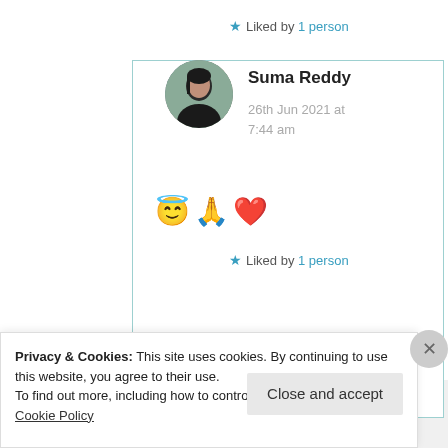★ Liked by 1 person
Suma Reddy
26th Jun 2021 at 7:44 am
😇🙏❤️
★ Liked by 1 person
Privacy & Cookies: This site uses cookies. By continuing to use this website, you agree to their use.
To find out more, including how to control cookies, see here: Cookie Policy
Close and accept